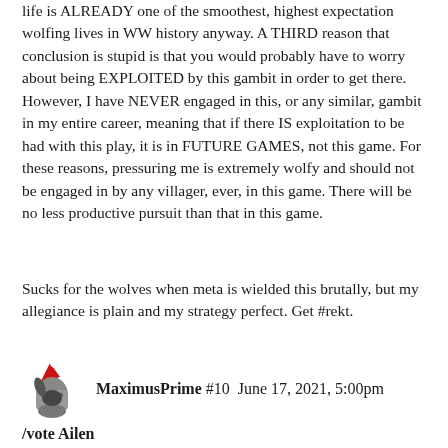life is ALREADY one of the smoothest, highest expectation wolfing lives in WW history anyway. A THIRD reason that conclusion is stupid is that you would probably have to worry about being EXPLOITED by this gambit in order to get there. However, I have NEVER engaged in this, or any similar, gambit in my entire career, meaning that if there IS exploitation to be had with this play, it is in FUTURE GAMES, not this game. For these reasons, pressuring me is extremely wolfy and should not be engaged in by any villager, ever, in this game. There will be no less productive pursuit than that in this game.
Sucks for the wolves when meta is wielded this brutally, but my allegiance is plain and my strategy perfect. Get #rekt.
MaximusPrime #10  June 17, 2021, 5:00pm
/vote Ailen